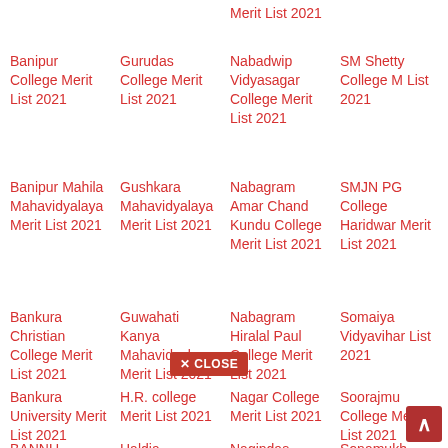Merit List 2021
Banipur College Merit List 2021
Gurudas College Merit List 2021
Nabadwip Vidyasagar College Merit List 2021
SM Shetty College Merit List 2021
Banipur Mahila Mahavidyalaya Merit List 2021
Gushkara Mahavidyalaya Merit List 2021
Nabagram Amar Chand Kundu College Merit List 2021
SMJN PG College Haridwar Merit List 2021
Bankura Christian College Merit List 2021
Guwahati Kanya Mahavidyalaya Merit List 2021
Nabagram Hiralal Paul College Merit List 2021
Somaiya Vidyavihar Merit List 2021
Bankura University Merit List 2021
H.R. college Merit List 2021
Nagar College Merit List 2021
Soorajmul College Merit List 2021
BANNU
Haldia
Nagindas
Sonamukh